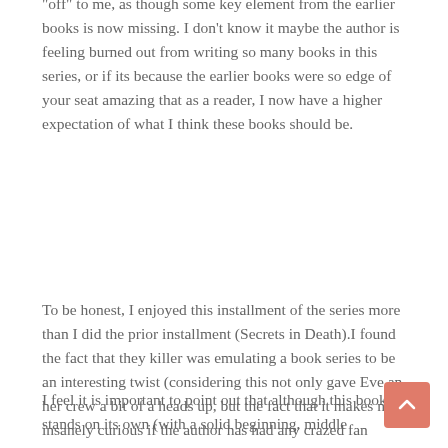"off" to me, as though some key element from the earlier books is now missing. I don't know it maybe the author is feeling burned out from writing so many books in this series, or if its because the earlier books were so edge of your seat amazing that as a reader, I now have a higher expectation of what I think these books should be.
To be honest, I enjoyed this installment of the series more than I did the prior installment (Secrets in Death).I found the fact that they killer was emulating a book series to be an interesting twist (considering this not only gave Eve an her crew a bit of a heads up, but the fact that it makes me insanely curious if the author has had any crazed fan letters such as described in the story). I also enjoyed the interactions between Eve and the secondary characters that I have grown so fond of over the years (Feeny, Nadine, Mavis, etc). I do think the actual take down of the suspect wasn't as adrenaline inducing as I would have liked considering, but the way it was done worked well with the overall plot.
I feel it is important to point out that although this book stands on its own (with a solid beginning, middle